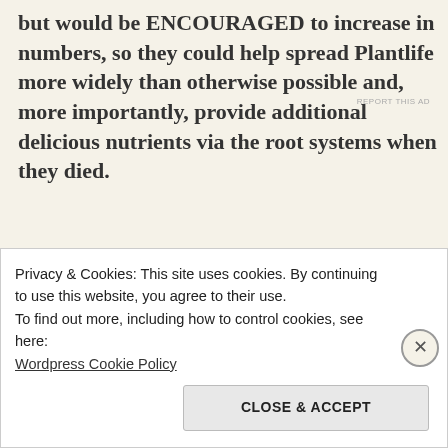but would be ENCOURAGED to increase in numbers, so they could help spread Plantlife more widely than otherwise possible and, more importantly, provide additional delicious nutrients via the root systems when they died.
[Figure (screenshot): Jetpack advertisement banner with green background, Jetpack logo with lightning bolt icon, and 'Back up your site' button]
Just as the all Plantlife had another
Privacy & Cookies: This site uses cookies. By continuing to use this website, you agree to their use.
To find out more, including how to control cookies, see here:
Wordpress Cookie Policy
CLOSE & ACCEPT